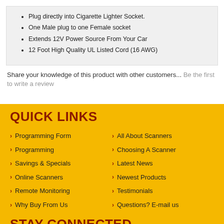Plug directly into Cigarette Lighter Socket.
One Male plug to one Female socket
Extends 12V Power Source From Your Car
12 Foot High Quality UL Listed Cord (16 AWG)
Share your knowledge of this product with other customers... Be the first to write a review
QUICK LINKS
Programming Form
All About Scanners
Programming
Choosing A Scanner
Savings & Specials
Latest News
Online Scanners
Newest Products
Remote Monitoring
Testimonials
Why Buy From Us
Questions? E-mail us
STAY CONNECTED
Subscribe to receive the latest news & updates.